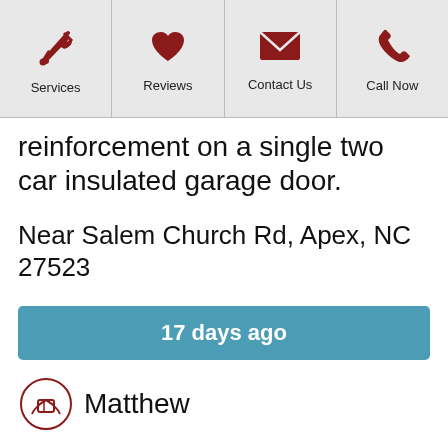Services | Reviews | Contact Us | Call Now
reinforcement on a single two car insulated garage door.
Near Salem Church Rd, Apex, NC 27523
17 days ago
Matthew